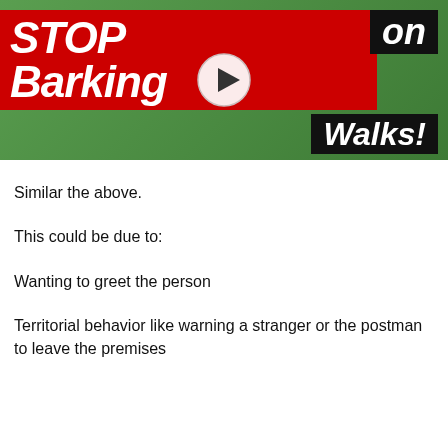[Figure (screenshot): Video thumbnail showing 'STOP Barking on Walks!' text in red and black banner with a play button overlay on a green background]
Similar the above.
This could be due to:
Wanting to greet the person
Territorial behavior like warning a stranger or the postman to leave the premises